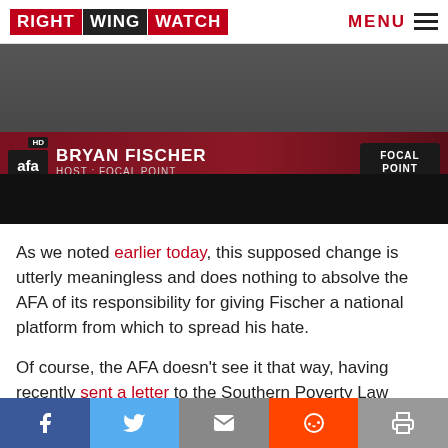RIGHT WING WATCH | MENU
[Figure (screenshot): TV screenshot showing Bryan Fischer, Host: Focal Point on AFA Channel in HD, with dark background below banner]
As we noted earlier today, this supposed change is utterly meaningless and does nothing to absolve the AFA of its responsibility for giving Fischer a national platform from which to spread his hate.
Of course, the AFA doesn't see it that way, having recently sent a letter to the Southern Poverty Law Center claiming that its radio network is "a free